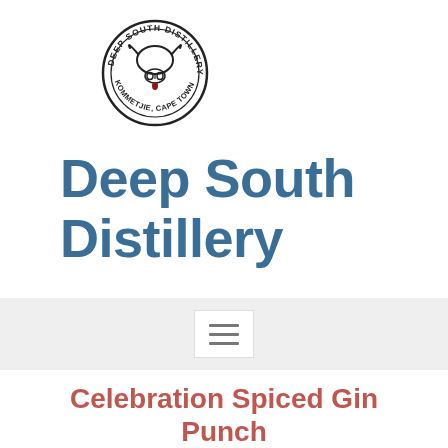[Figure (logo): Deep South Distillery circular logo with a cow skull illustration and text 'DEEP SOUTH DISTILLERY' and 'KOMMETJIE, CAPE TOWN' around the border]
Deep South Distillery
[Figure (other): Navigation bar with hamburger menu button (three horizontal lines) on a light grey background]
Celebration Spiced Gin Punch